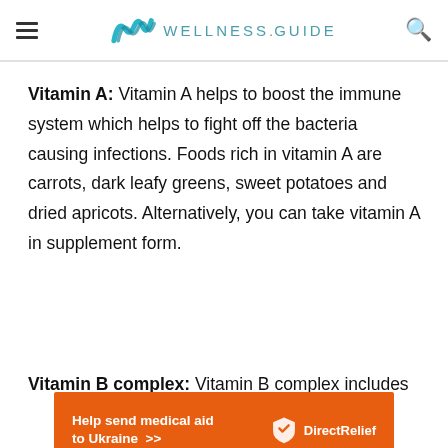WELLNESS.GUIDE
Vitamin A: Vitamin A helps to boost the immune system which helps to fight off the bacteria causing infections. Foods rich in vitamin A are carrots, dark leafy greens, sweet potatoes and dried apricots. Alternatively, you can take vitamin A in supplement form.
Vitamin B complex: Vitamin B complex includes
[Figure (other): Direct Relief advertisement banner with orange background: 'Help send medical aid to Ukraine >>' with Direct Relief logo]